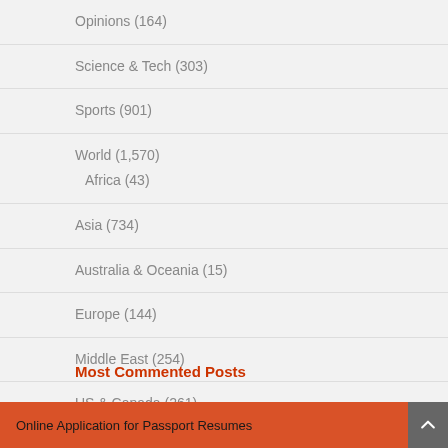Opinions (164)
Science & Tech (303)
Sports (901)
World (1,570)
Africa (43)
Asia (734)
Australia & Oceania (15)
Europe (144)
Middle East (254)
US & Canada (261)
Most Commented Posts
Online Application for Passport Resumes